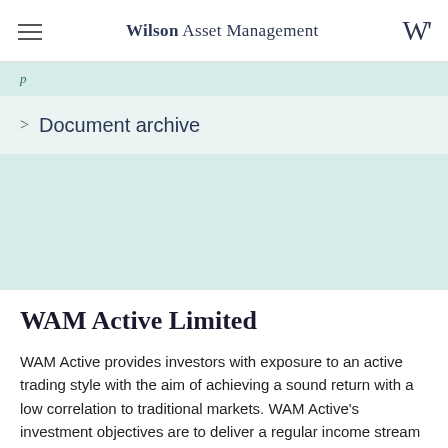Wilson Asset Management
Document archive
WAM Active Limited
WAM Active provides investors with exposure to an active trading style with the aim of achieving a sound return with a low correlation to traditional markets. WAM Active's investment objectives are to deliver a regular income stream via fully franked dividends, provide a positive return with low volatility, after fees, over most periods of time, and